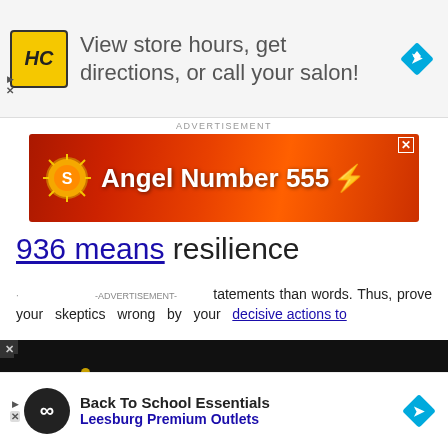[Figure (infographic): Top advertisement banner: HC salon logo (yellow/black), text 'View store hours, get directions, or call your salon!', blue diamond navigation icon]
[Figure (infographic): ADVERTISEMENT label above red/orange Angel Number 555 banner ad with sun icon and lightning bolt]
936 means resilience
...tatements than words. Thus, prove your skeptics wrong by your decisive actions to
[Figure (screenshot): Dark video panel: circle icon, gold dot, title 'How To Open 7 Chakras - Meditation and Healing - SunSigns.Org']
Well, ...benefit from i... n what you d... ly for
[Figure (infographic): Bottom ad: infinity logo, 'Back To School Essentials', 'Leesburg Premium Outlets', blue diamond]